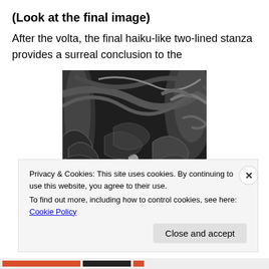(Look at the final image)
After the volta, the final haiku-like two-lined stanza provides a surreal conclusion to the
[Figure (illustration): Black and white engraving illustration showing a dramatic scene with swirling trees and a human figure surrounded by turbulent, flame-like foliage and twisted branches in a dark forest.]
Privacy & Cookies: This site uses cookies. By continuing to use this website, you agree to their use.
To find out more, including how to control cookies, see here: Cookie Policy
Close and accept